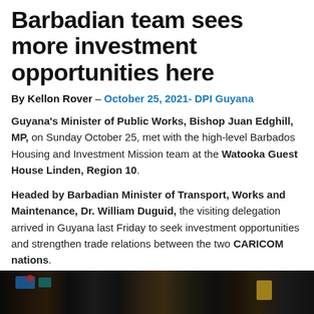Barbadian team sees more investment opportunities here
By Kellon Rover – October 25, 2021- DPI Guyana
Guyana's Minister of Public Works, Bishop Juan Edghill, MP, on Sunday October 25, met with the high-level Barbados Housing and Investment Mission team at the Watooka Guest House Linden, Region 10.
Headed by Barbadian Minister of Transport, Works and Maintenance, Dr. William Duguid, the visiting delegation arrived in Guyana last Friday to seek investment opportunities and strengthen trade relations between the two CARICOM nations.
[Figure (photo): Dark interior photo, likely of a meeting or gathering at Watooka Guest House]